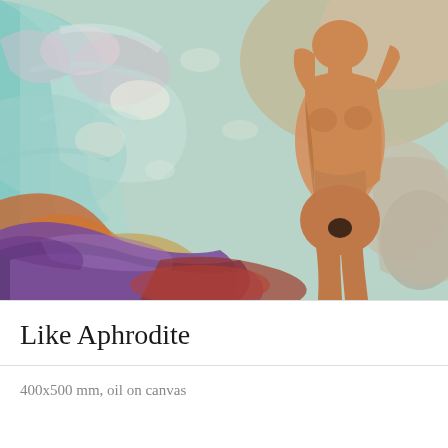[Figure (illustration): Oil painting of a nude female figure (Aphrodite) standing against a colorful abstract background with swirling blues, teals, purples, reds, and oranges. The figure is rendered in warm amber/orange tones. A purple draped form is in the lower left foreground.]
Like Aphrodite
400x500 mm, oil on canvas